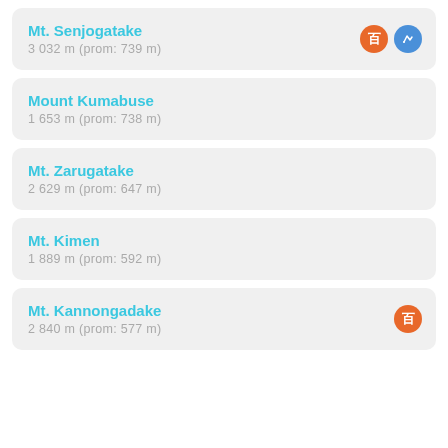Mt. Senjogatake
3 032 m (prom: 739 m)
Mount Kumabuse
1 653 m (prom: 738 m)
Mt. Zarugatake
2 629 m (prom: 647 m)
Mt. Kimen
1 889 m (prom: 592 m)
Mt. Kannongadake
2 840 m (prom: 577 m)